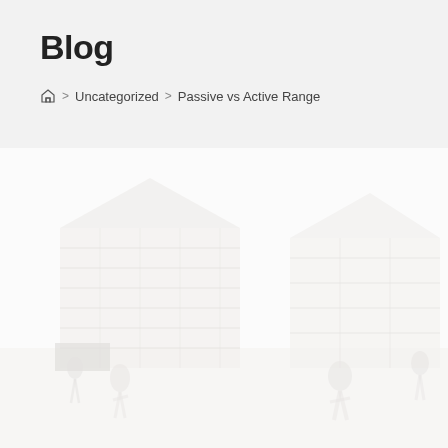Blog
⌂ > Uncategorized > Passive vs Active Range
[Figure (photo): A faded/washed-out outdoor photograph showing industrial or military equipment (large box-shaped units/trailers) with people visible in the foreground and background.]